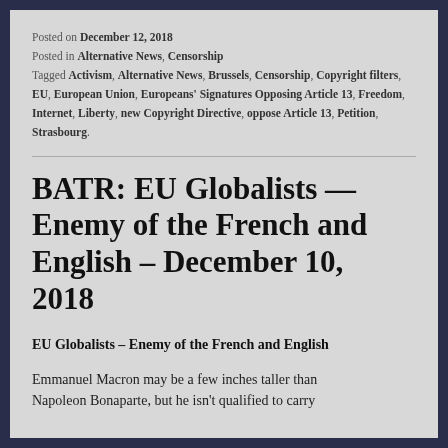Posted on December 12, 2018
Posted in Alternative News, Censorship
Tagged Activism, Alternative News, Brussels, Censorship, Copyright filters, EU, European Union, Europeans' Signatures Opposing Article 13, Freedom, Internet, Liberty, new Copyright Directive, oppose Article 13, Petition, Strasbourg.
BATR: EU Globalists — Enemy of the French and English – December 10, 2018
EU Globalists – Enemy of the French and English
Emmanuel Macron may be a few inches taller than Napoleon Bonaparte, but he isn't qualified to carry